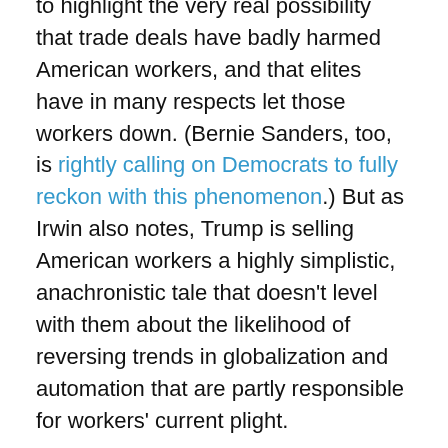to highlight the very real possibility that trade deals have badly harmed American workers, and that elites have in many respects let those workers down. (Bernie Sanders, too, is rightly calling on Democrats to fully reckon with this phenomenon.) But as Irwin also notes, Trump is selling American workers a highly simplistic, anachronistic tale that doesn't level with them about the likelihood of reversing trends in globalization and automation that are partly responsible for workers' current plight.
I would add an important point: Clinton is offering these workers substantially more than Trump is. Clinton has also pledged to renegotiate trade deals and to oppose the Trans-Pacific Partnership. Whether or not you see that as opportunistic, Clinton has also outlined detailed plans for programs that would try to use tax credits and federal spending to make American workers and businesses more